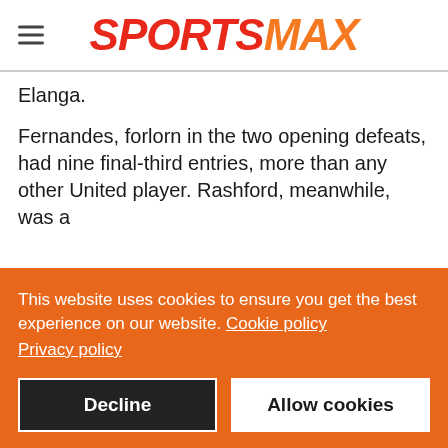SPORTSMAX
Elanga.

Fernandes, forlorn in the two opening defeats, had nine final-third entries, more than any other United player. Rashford, meanwhile, was a
This website uses cookies to ensure you get the best experience on our website. Cookie policy Privacy policy
Decline
Allow cookies